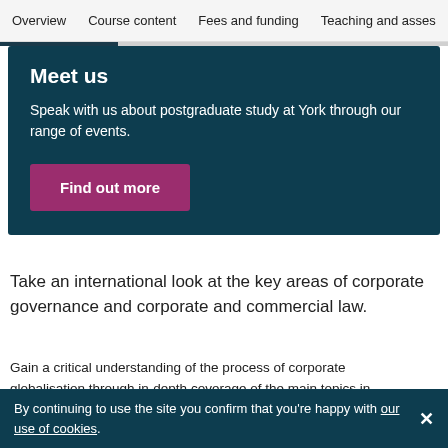Overview   Course content   Fees and funding   Teaching and asses
Meet us
Speak with us about postgraduate study at York through our range of events.
Find out more
Take an international look at the key areas of corporate governance and corporate and commercial law.
Gain a critical understanding of the process of corporate globalisation through in-depth coverage of the main topics in corporate governance and commercial law.
By continuing to use the site you confirm that you're happy with our use of cookies.